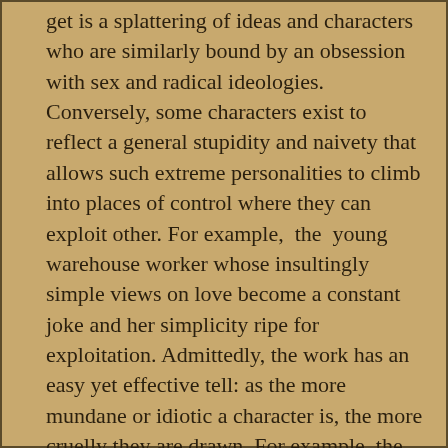get is a splattering of ideas and characters who are similarly bound by an obsession with sex and radical ideologies. Conversely, some characters exist to reflect a general stupidity and naivety that allows such extreme personalities to climb into places of control where they can exploit other. For example, the young warehouse worker whose insultingly simple views on love become a constant joke and her simplicity ripe for exploitation. Admittedly, the work has an easy yet effective tell: as the more mundane or idiotic a character is, the more cruelly they are drawn. For example, the office worker presented in an